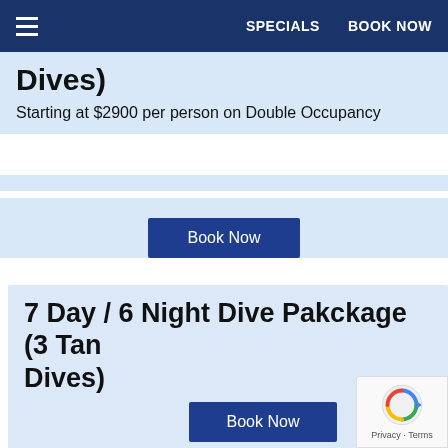SPECIALS   BOOK NOW
Dives)
Starting at $2900 per person on Double Occupancy
7 Day / 6 Night Dive Pakckage (3 Tank Dives)
Starting at $3300 per person on Double Occupancy